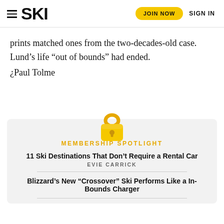SKI | JOIN NOW | SIGN IN
prints matched ones from the two-decades-old case. Lund’s life “out of bounds” had ended.
¿Paul Tolme
[Figure (illustration): Gold padlock icon indicating members-only content]
MEMBERSHIP SPOTLIGHT
11 Ski Destinations That Don’t Require a Rental Car
EVIE CARRICK
Blizzard’s New “Crossover” Ski Performs Like a In-Bounds Charger